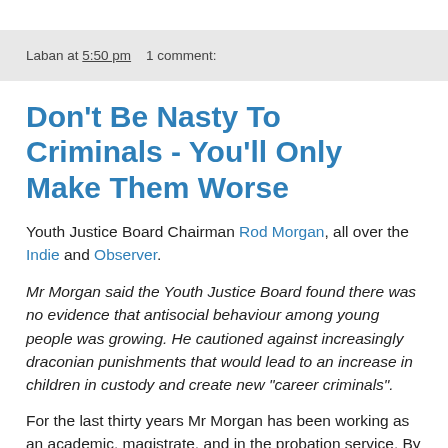Laban at 5:50 pm    1 comment:
Don't Be Nasty To Criminals - You'll Only Make Them Worse
Youth Justice Board Chairman Rod Morgan, all over the Indie and Observer.
Mr Morgan said the Youth Justice Board found there was no evidence that antisocial behaviour among young people was growing. He cautioned against increasingly draconian punishments that would lead to an increase in children in custody and create new "career criminals".
For the last thirty years Mr Morgan has been working as an academic, magistrate, and in the probation service. By strange chance his career also covers the period over which recorded crime has risen by around eight times.